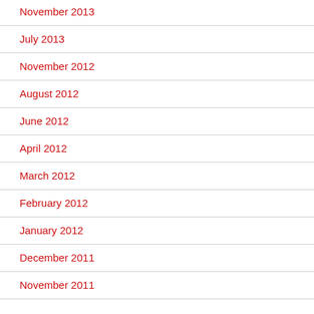November 2013
July 2013
November 2012
August 2012
June 2012
April 2012
March 2012
February 2012
January 2012
December 2011
November 2011